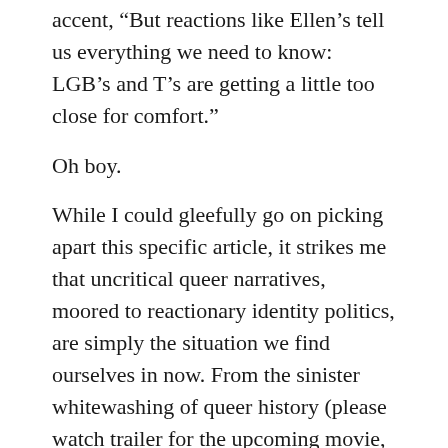accent, “But reactions like Ellen’s tell us everything we need to know: LGB’s and T’s are getting a little too close for comfort.”
Oh boy.
While I could gleefully go on picking apart this specific article, it strikes me that uncritical queer narratives, moored to reactionary identity politics, are simply the situation we find ourselves in now. From the sinister whitewashing of queer history (please watch trailer for the upcoming movie, “Stonewall”) to the mere fact that Ellen’s smug entitlement reacting to Caitlyn’s smug entitlement could possibly herald a new frontier of queer political stratification. What is clear is that we have become a Lifetime Channel Meredith Baxter-Birney version of ourselves. This means that important